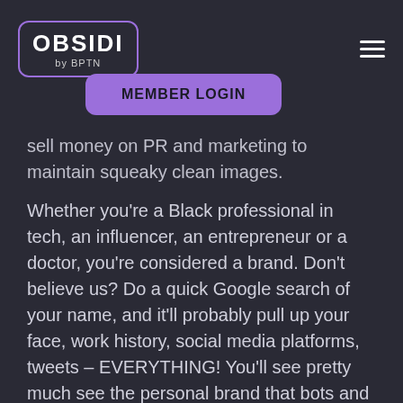OBSIDI by BPTN
MEMBER LOGIN
sell money on PR and marketing to maintain squeaky clean images.
Whether you're a Black professional in tech, an influencer, an entrepreneur or a doctor, you're considered a brand. Don't believe us? Do a quick Google search of your name, and it'll probably pull up your face, work history, social media platforms, tweets – EVERYTHING! You'll see pretty much see the personal brand that bots and algorithms created for you.
But, all's not lost. Today is a new day, and since